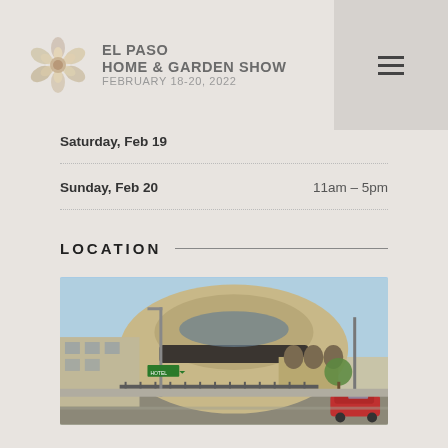EL PASO HOME & GARDEN SHOW FEBRUARY 18-20, 2022
Saturday, Feb 19
Sunday, Feb 20    11am – 5pm
LOCATION
[Figure (photo): Exterior photograph of a large dome-shaped convention center building with arched entrances, surrounded by street infrastructure, trees, and a parked red car. Appears to be the El Paso Convention Center.]